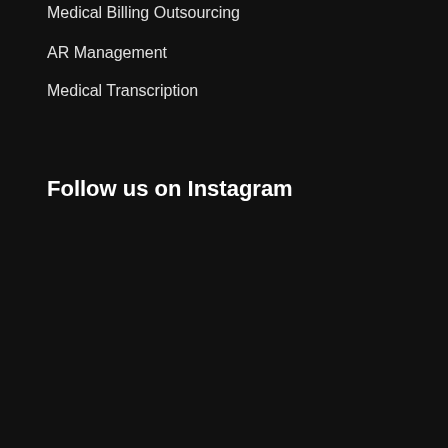Medical Billing Outsourcing
AR Management
Medical Transcription
Follow us on Instagram